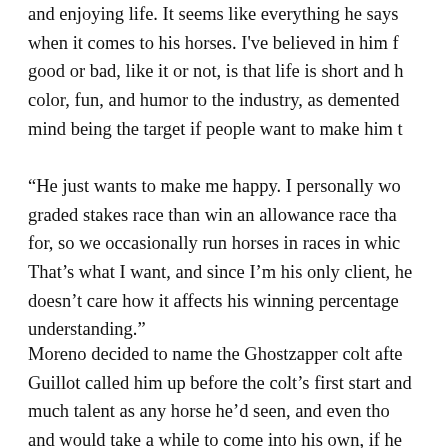and enjoying life. It seems like everything he says when it comes to his horses. I've believed in him f good or bad, like it or not, is that life is short and h color, fun, and humor to the industry, as demented mind being the target if people want to make him t
“He just wants to make me happy. I personally wo graded stakes race than win an allowance race tha for, so we occasionally run horses in races in whic That’s what I want, and since I’m his only client, he doesn’t care how it affects his winning percentage understanding.”
Moreno decided to name the Ghostzapper colt afte Guillot called him up before the colt’s first start and much talent as any horse he’d seen, and even tho and would take a while to come into his own, if he after his last race, things on the same with a b